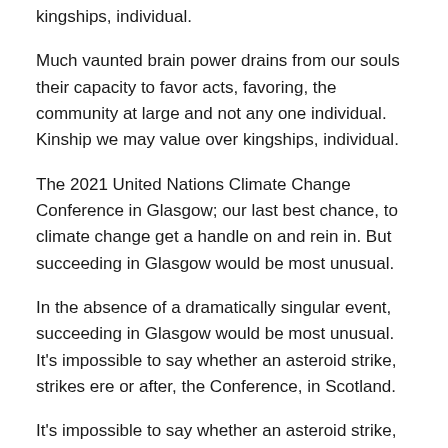kingships, individual.
Much vaunted brain power drains from our souls their capacity to favor acts, favoring, the community at large and not any one individual. Kinship we may value over kingships, individual.
The 2021 United Nations Climate Change Conference in Glasgow; our last best chance, to climate change get a handle on and rein in. But succeeding in Glasgow would be most unusual.
In the absence of a dramatically singular event, succeeding in Glasgow would be most unusual. It's impossible to say whether an asteroid strike, strikes ere or after, the Conference, in Scotland.
It's impossible to say whether an asteroid strike, strikes